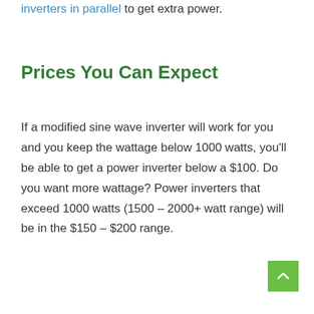inverters in parallel to get extra power.
Prices You Can Expect
If a modified sine wave inverter will work for you and you keep the wattage below 1000 watts, you'll be able to get a power inverter below a $100. Do you want more wattage? Power inverters that exceed 1000 watts (1500 – 2000+ watt range) will be in the $150 – $200 range.